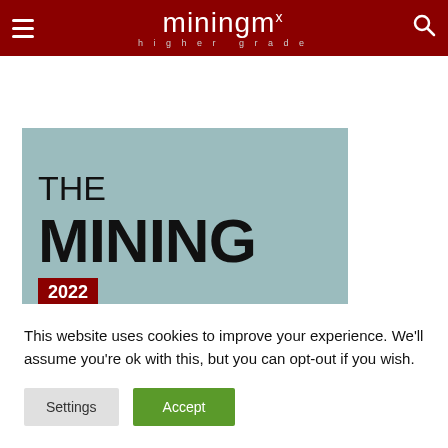miningmx higher grade
[Figure (illustration): The Mining Yearbook 2022 book cover on a light blue/teal background. Shows THE MINING in large bold text, 2022 in a red badge, and YEARBOOK in large bold text below.]
This website uses cookies to improve your experience. We'll assume you're ok with this, but you can opt-out if you wish.
Settings  Accept